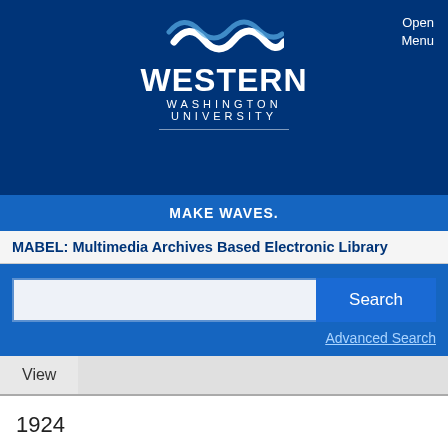[Figure (logo): Western Washington University logo with wave graphic and text 'WESTERN WASHINGTON UNIVERSITY']
Open Menu
MAKE WAVES.
MABEL: Multimedia Archives Based Electronic Library
Search
Advanced Search
View
1924
-----------
Klipsun, 1924